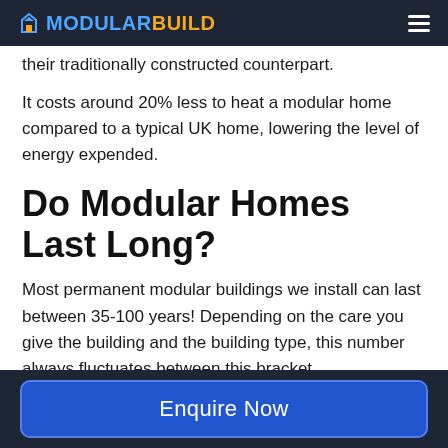MODULARBUILD
their traditionally constructed counterpart.
It costs around 20% less to heat a modular home compared to a typical UK home, lowering the level of energy expended.
Do Modular Homes Last Long?
Most permanent modular buildings we install can last between 35-100 years! Depending on the care you give the building and the building type, this number always fluctuates between this bracket.
Enquire Now